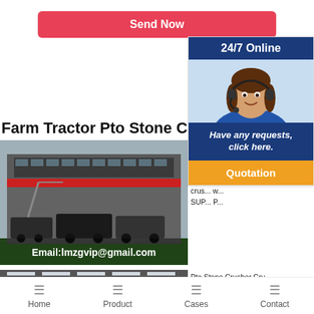Send Now
Farm Tractor Pto Stone Crush
[Figure (photo): Industrial/factory building with machinery and trucks, email overlay: Email:lmzgvip@gmail.com]
[Figure (photo): Indoor factory/warehouse interior photo]
[Figure (infographic): 24/7 Online customer service widget with woman wearing headset, 'Have any requests, click here.' CTA and orange Quotation button]
Roc... to Stone... ra... out S... Work... ax... crus... w... SUP... P...
Pto Stone Crusher Cru... FARM SHOW Home-Buil... Ford 7600 tractor to pull t...
Home | Product | Cases | Contact